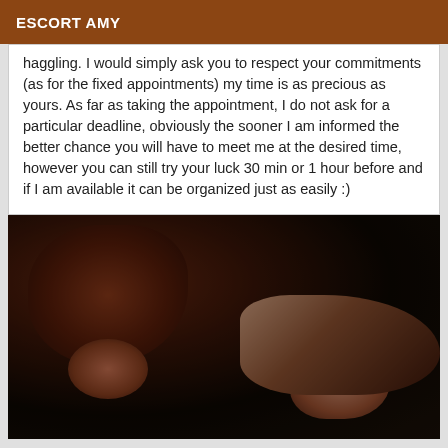ESCORT AMY
haggling.  I would simply ask you to respect your commitments (as for the fixed appointments) my time is as precious as yours. As far as taking the appointment, I do not ask for a particular deadline, obviously the sooner I am informed the better chance you will have to meet me at the desired time, however you can still try your luck 30 min or 1 hour before and if I am available it can be organized just as easily :)
[Figure (photo): A dark, low-light photograph showing close-up details with brown/dark reddish tones, very dimly lit scene]